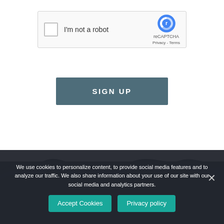[Figure (screenshot): reCAPTCHA widget with checkbox labeled 'I'm not a robot', reCAPTCHA logo, and 'reCAPTCHA Privacy - Terms' branding on the right]
SIGN UP
[Figure (illustration): Dark ocean/wave illustration forming the background at the bottom of the page, transitioning from white to dark navy]
We use cookies to personalize content, to provide social media features and to analyze our traffic. We also share information about your use of our site with our social media and analytics partners.
Accept Cookies
Privacy policy